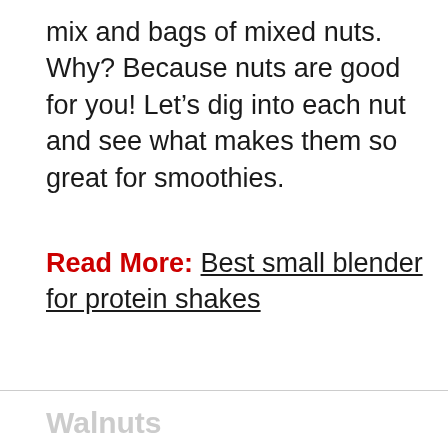mix and bags of mixed nuts. Why? Because nuts are good for you! Let's dig into each nut and see what makes them so great for smoothies.
Read More: Best small blender for protein shakes
Walnuts